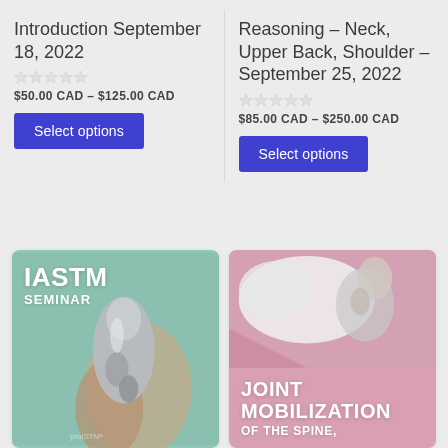Introduction September 18, 2022
★★★★★
$50.00 CAD – $125.00 CAD
Select options
Reasoning – Neck, Upper Back, Shoulder – September 25, 2022
★★★★★
$85.00 CAD – $250.00 CAD
Select options
[Figure (photo): IASTM Seminar course card showing a metal IASTM tool being used, with text 'IASTM SEMINAR' on a teal/green background]
[Figure (photo): Joint Mobilization course card showing a woman holding her neck in grayscale on pink background with text 'JOINT MOBILIZATION OF THE SPINE,']